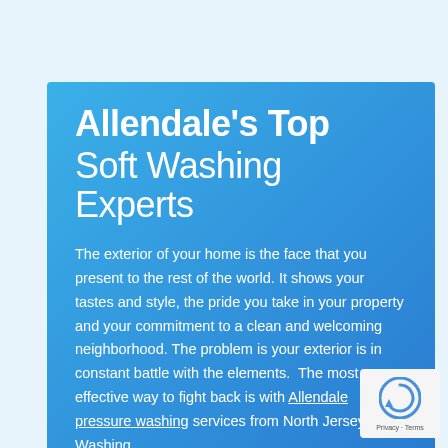Allendale's Top Soft Washing Experts
The exterior of your home is the face that you present to the rest of the world. It shows your tastes and style, the pride you take in your property and your commitment to a clean and welcoming neighborhood. The problem is your exterior is in constant battle with the elements.  The most effective way to fight back is with Allendale pressure washing services from North Jersey Soft Washing.
[Figure (logo): Google reCAPTCHA badge with rotating arrow logo and Privacy · Terms text]